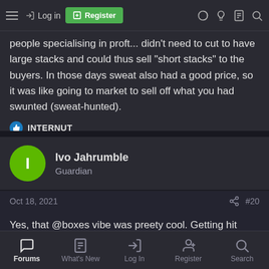Navigation bar with hamburger menu, Log in, Register button, and icons
people specialising in proft... didn't need to cut to have large stacks and could thus sell "short stacks" to the buyers. In those days sweat also had a good price, so it was like going to market to sell off what you had swunted (sweat-hunted).
INTERNUT
Ivo Jahrumble
Guardian
Oct 18, 2021
#20
Yes, that @boxes vibe was preety cool. Getting hit randomly with a body flying out fo the ring and all the fuss going about Twins was a lot more fun than current twins. Even the PA was.
Forums | What's New | Log In | Register | Search